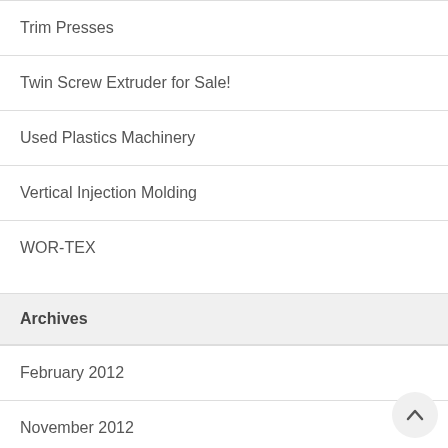Trim Presses
Twin Screw Extruder for Sale!
Used Plastics Machinery
Vertical Injection Molding
WOR-TEX
Archives
February 2012
November 2012
December 2012
February 2013
March 2013